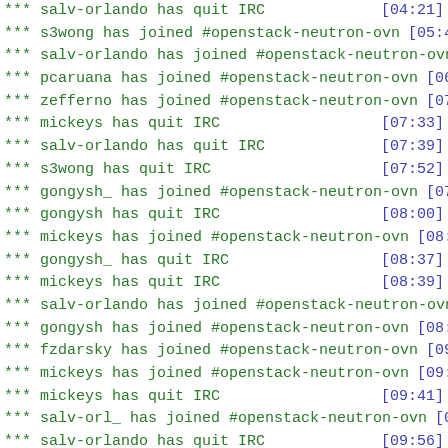*** salv-orlando has quit IRC [04:21]
*** s3wong has joined #openstack-neutron-ovn [05:46]
*** salv-orlando has joined #openstack-neutron-ovn [06:43]
*** pcaruana has joined #openstack-neutron-ovn [06:51]
*** zefferno has joined #openstack-neutron-ovn [07:27]
*** mickeys has quit IRC [07:33]
*** salv-orlando has quit IRC [07:39]
*** s3wong has quit IRC [07:52]
*** gongysh_ has joined #openstack-neutron-ovn [07:59]
*** gongysh has quit IRC [08:00]
*** mickeys has joined #openstack-neutron-ovn [08:33]
*** gongysh_ has quit IRC [08:37]
*** mickeys has quit IRC [08:39]
*** salv-orlando has joined #openstack-neutron-ovn [08:49]
*** gongysh has joined #openstack-neutron-ovn [08:51]
*** fzdarsky has joined #openstack-neutron-ovn [09:14]
*** mickeys has joined #openstack-neutron-ovn [09:36]
*** mickeys has quit IRC [09:41]
*** salv-orl_ has joined #openstack-neutron-ovn [09:53]
*** salv-orlando has quit IRC [09:56]
*** armax has joined #openstack-neutron-ovn [10:36]
*** mickeys has joined #openstack-neutron-ovn [10:37]
*** mickeys has quit IRC [10:41]